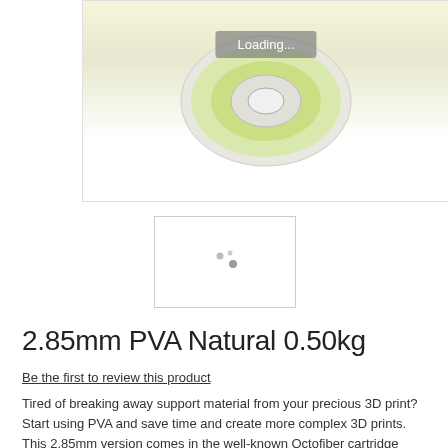[Figure (photo): Product image of a yellow PVA filament spool with a 'Loading...' overlay in the center]
[Figure (photo): Thumbnail image placeholder showing loading dots]
2.85mm PVA Natural 0.50kg
Be the first to review this product
Tired of breaking away support material from your precious 3D print? Start using PVA and save time and create more complex 3D prints. This 2.85mm version comes in the well-known Octofiber cartridge packaging.
€38.96
Availability: Out of stock
Share